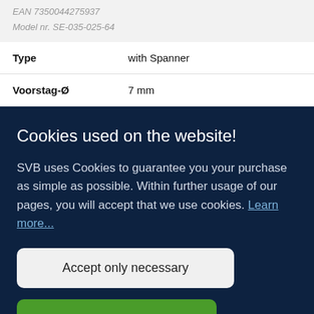| EAN 7350044275937 |  |
| Model nr. SE-035-025-64 |  |
| Type | with Spanner |
| Voorstag-Ø | 7 mm |
Cookies used on the website!
SVB uses Cookies to guarantee you your purchase as simple as possible. Within further usage of our pages, you will accept that we use cookies. Learn more...
Accept only necessary
Accept